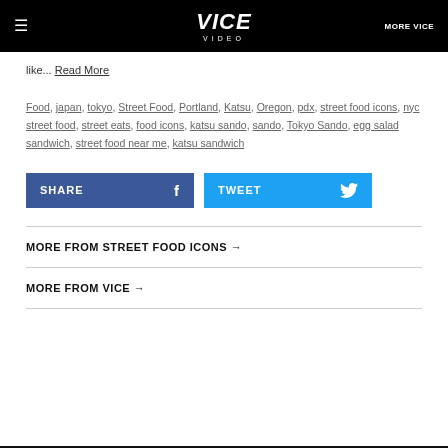VICE VIDEO | MORE VICE
like... Read More
Food, japan, tokyo, Street Food, Portland, Katsu, Oregon, pdx, street food icons, nyc street food, street eats, food icons, katsu sando, sando, Tokyo Sando, egg salad sandwich, street food near me, katsu sandwich
SHARE | TWEET
MORE FROM STREET FOOD ICONS →
MORE FROM VICE →